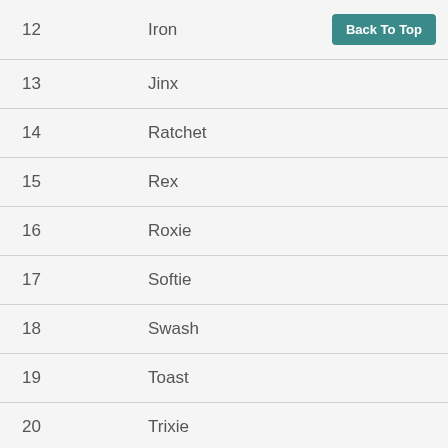| # | Name |  |
| --- | --- | --- |
| 12 | Iron | Back To Top |
| 13 | Jinx |  |
| 14 | Ratchet |  |
| 15 | Rex |  |
| 16 | Roxie |  |
| 17 | Softie |  |
| 18 | Swash |  |
| 19 | Toast |  |
| 20 | Trixie |  |